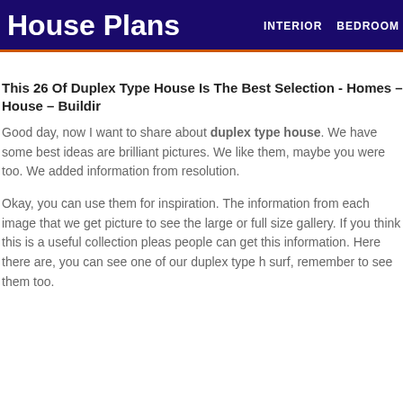House Plans  INTERIOR  BEDROOM
This 26 Of Duplex Type House Is The Best Selection - Homes – House – Buildir
Good day, now I want to share about duplex type house. We have some best ideas are brilliant pictures. We like them, maybe you were too. We added information from resolution.
Okay, you can use them for inspiration. The information from each image that we get picture to see the large or full size gallery. If you think this is a useful collection pleas people can get this information. Here there are, you can see one of our duplex type h surf, remember to see them too.